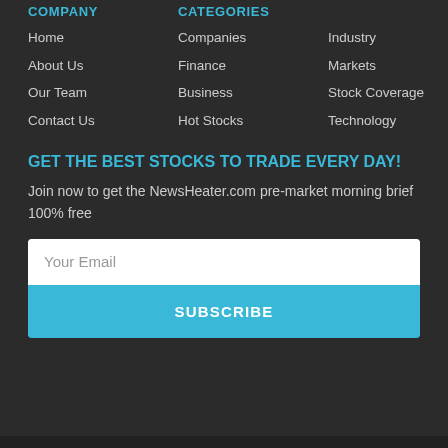COMPANY
CATEGORIES
Home
About Us
Our Team
Contact Us
Companies
Finance
Business
Hot Stocks
Industry
Markets
Stock Coverage
Technology
GET THE BEST STOCKS TO TRADE EVERY DAY!
Join now to get the NewsHeater.com pre-market morning brief 100% free